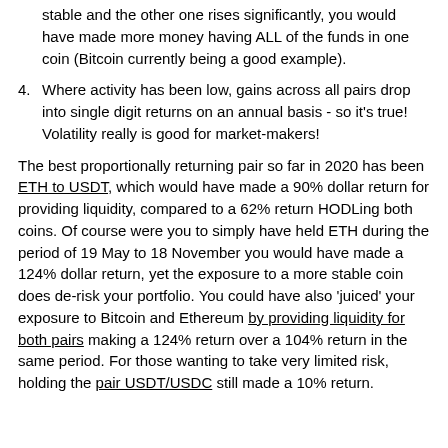stable and the other one rises significantly, you would have made more money having ALL of the funds in one coin (Bitcoin currently being a good example).
Where activity has been low, gains across all pairs drop into single digit returns on an annual basis - so it's true! Volatility really is good for market-makers!
The best proportionally returning pair so far in 2020 has been ETH to USDT, which would have made a 90% dollar return for providing liquidity, compared to a 62% return HODLing both coins. Of course were you to simply have held ETH during the period of 19 May to 18 November you would have made a 124% dollar return, yet the exposure to a more stable coin does de-risk your portfolio. You could have also 'juiced' your exposure to Bitcoin and Ethereum by providing liquidity for both pairs making a 124% return over a 104% return in the same period. For those wanting to take very limited risk, holding the pair USDT/USDC still made a 10% return.